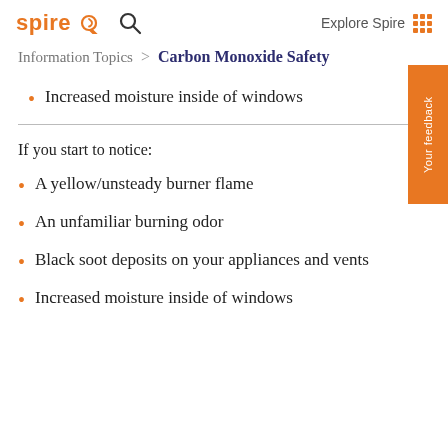spire  Explore Spire
Information Topics > Carbon Monoxide Safety
Increased moisture inside of windows
If you start to notice:
A yellow/unsteady burner flame
An unfamiliar burning odor
Black soot deposits on your appliances and vents
Increased moisture inside of windows